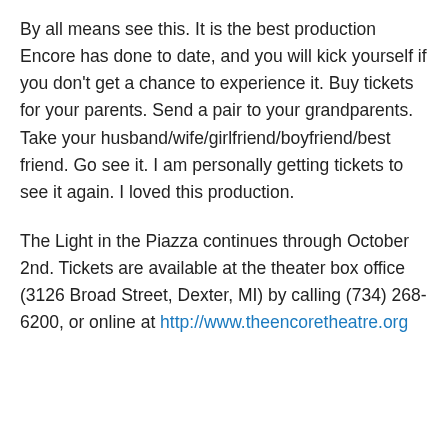By all means see this. It is the best production Encore has done to date, and you will kick yourself if you don't get a chance to experience it. Buy tickets for your parents. Send a pair to your grandparents. Take your husband/wife/girlfriend/boyfriend/best friend. Go see it. I am personally getting tickets to see it again. I loved this production.
The Light in the Piazza continues through October 2nd. Tickets are available at the theater box office (3126 Broad Street, Dexter, MI) by calling (734) 268-6200, or online at http://www.theencoretheatre.org